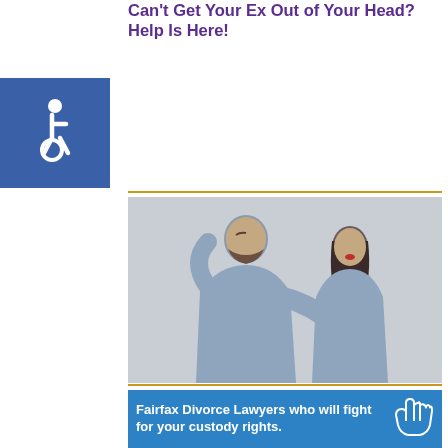Can't Get Your Ex Out of Your Head? Help Is Here!
[Figure (illustration): Accessibility wheelchair icon on blue square background]
[Figure (photo): A frustrated man pointing and a worried woman standing next to him against a grey background, representing post-divorce conflict]
5 Tips to Help Deal With Post-Divorce Conflict With Your Ex
[Figure (infographic): Blue banner advertisement reading: Fairfax Divorce Lawyers who will fight for your custody rights. with a hand/scales icon on the right]